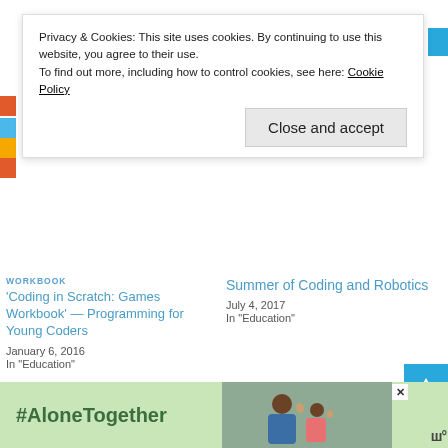Privacy & Cookies: This site uses cookies. By continuing to use this website, you agree to their use.
To find out more, including how to control cookies, see here: Cookie Policy
Close and accept
WORKBOOK
'Coding in Scratch: Games Workbook' — Programming for Young Coders
January 6, 2016
In "Education"
Summer of Coding and Robotics
July 4, 2017
In "Education"
[Figure (photo): Book cover: Scratch Programming Playground]
Create Start-to-Finish Games With 'Scratch Programming
#AloneTogether